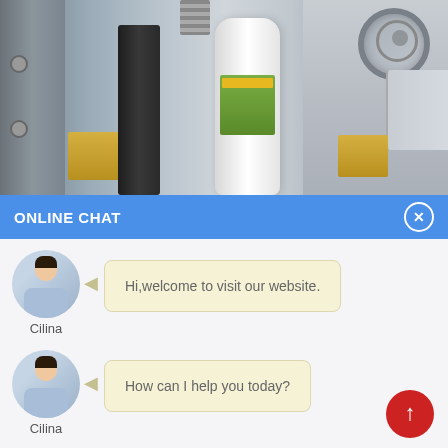[Figure (photo): Industrial labeling/packaging machinery with metal frames, dark cylinder, white bottle, and machine components]
ONLINE CHAT
Hi,welcome to visit our website.
Cilina
How can I help you today?
Cilina